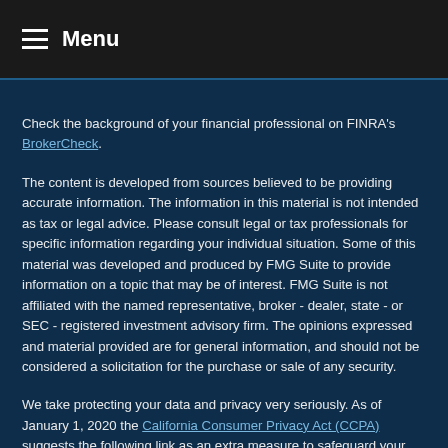Menu
Check the background of your financial professional on FINRA's BrokerCheck.
The content is developed from sources believed to be providing accurate information. The information in this material is not intended as tax or legal advice. Please consult legal or tax professionals for specific information regarding your individual situation. Some of this material was developed and produced by FMG Suite to provide information on a topic that may be of interest. FMG Suite is not affiliated with the named representative, broker - dealer, state - or SEC - registered investment advisory firm. The opinions expressed and material provided are for general information, and should not be considered a solicitation for the purchase or sale of any security.
We take protecting your data and privacy very seriously. As of January 1, 2020 the California Consumer Privacy Act (CCPA) suggests the following link as an extra measure to safeguard your